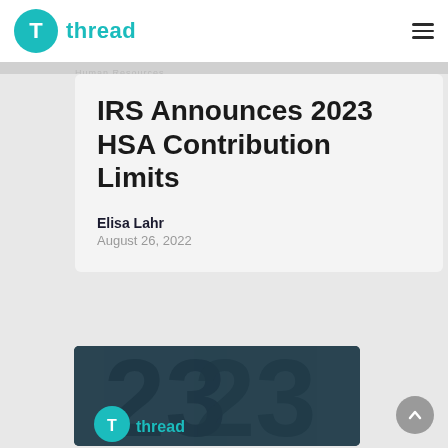thread
IRS Announces 2023 HSA Contribution Limits
Elisa Lahr
August 26, 2022
[Figure (logo): Thread company logo with teal circle icon and thread wordmark in teal]